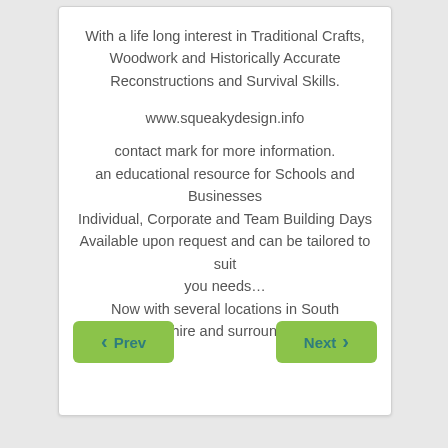With a life long interest in Traditional Crafts, Woodwork and Historically Accurate Reconstructions and Survival Skills.
www.squeakydesign.info
contact mark for more information.
an educational resource for Schools and Businesses
Individual, Corporate and Team Building Days
Available upon request and can be tailored to suit you needs…
Now with several locations in South Northamptonshire and surrounding Counties.